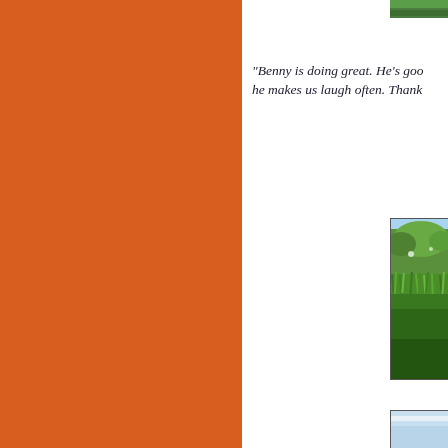[Figure (photo): Orange/burnt-orange solid color panel occupying the left half of the page]
[Figure (photo): Partial photo at top right corner, partially cropped]
"Benny is doing great. He's goo… he makes us laugh often. Thank …
[Figure (photo): Photo of green grass field with trees in background, right side of page]
[Figure (photo): Partial photo at bottom right, partially cropped]